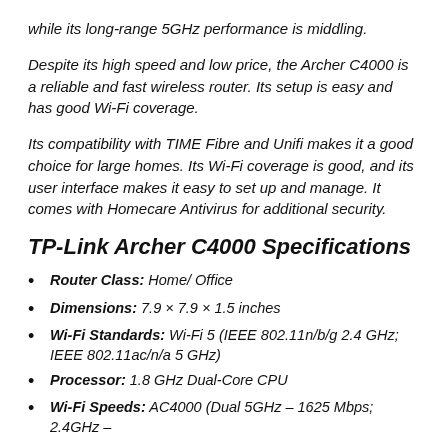while its long-range 5GHz performance is middling.
Despite its high speed and low price, the Archer C4000 is a reliable and fast wireless router. Its setup is easy and has good Wi-Fi coverage.
Its compatibility with TIME Fibre and Unifi makes it a good choice for large homes. Its Wi-Fi coverage is good, and its user interface makes it easy to set up and manage. It comes with Homecare Antivirus for additional security.
TP-Link Archer C4000 Specifications
Router Class: Home/ Office
Dimensions: 7.9 × 7.9 × 1.5 inches
Wi-Fi Standards: Wi-Fi 5 (IEEE 802.11n/b/g 2.4 GHz; IEEE 802.11ac/n/a 5 GHz)
Processor: 1.8 GHz Dual-Core CPU
Wi-Fi Speeds: AC4000 (Dual 5GHz – 1625 Mbps; 2.4GHz –